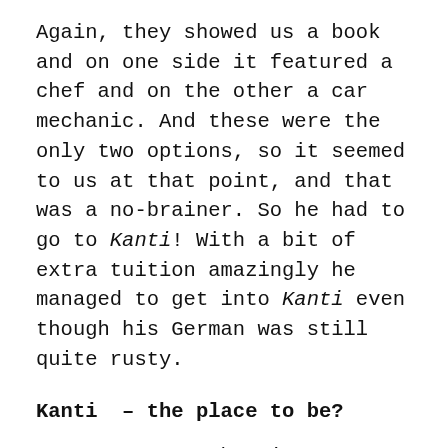Again, they showed us a book and on one side it featured a chef and on the other a car mechanic. And these were the only two options, so it seemed to us at that point, and that was a no-brainer. So he had to go to Kanti! With a bit of extra tuition amazingly he managed to get into Kanti even though his German was still quite rusty.
Kanti  – the place to be?
I can now say that it was a mistake! Our oldest went to Kanti but it was a disaster. He got more and more withdrawn and he was working so hard! He then joined a triathlon club to help his German, which he loved; it was his passion. However, during the first school meeting we were told that he had to